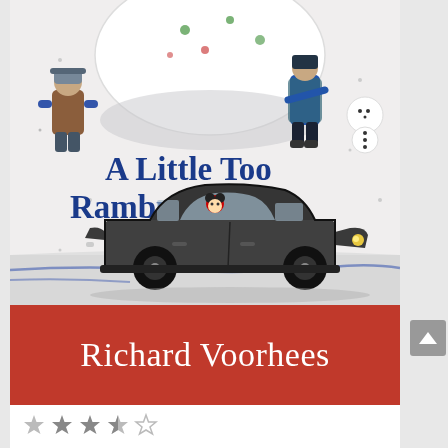[Figure (illustration): Book cover illustration showing a winter/snow scene. Large snowball at top center being pushed or rolled by children. A child in brown coat and blue mittens on the left, another figure in blue and teal on the right, a small snowman in top right corner. In the lower half, a dark gray/black vintage sedan car (1950s-60s style) with a small figure wearing a red outfit visible through the windshield, driving on a snowy road with blue snow banks.]
A Little Too Rambunctious
Richard Voorhees
[Figure (other): Star rating display showing 3.5 out of 5 stars, rendered as gray star icons]